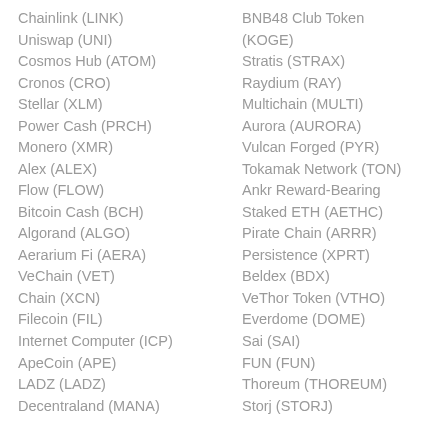Chainlink (LINK)
Uniswap (UNI)
Cosmos Hub (ATOM)
Cronos (CRO)
Stellar (XLM)
Power Cash (PRCH)
Monero (XMR)
Alex (ALEX)
Flow (FLOW)
Bitcoin Cash (BCH)
Algorand (ALGO)
Aerarium Fi (AERA)
VeChain (VET)
Chain (XCN)
Filecoin (FIL)
Internet Computer (ICP)
ApeCoin (APE)
LADZ (LADZ)
Decentraland (MANA)
BNB48 Club Token (KOGE)
Stratis (STRAX)
Raydium (RAY)
Multichain (MULTI)
Aurora (AURORA)
Vulcan Forged (PYR)
Tokamak Network (TON)
Ankr Reward-Bearing
Staked ETH (AETHC)
Pirate Chain (ARRR)
Persistence (XPRT)
Beldex (BDX)
VeThor Token (VTHO)
Everdome (DOME)
Sai (SAI)
FUN (FUN)
Thoreum (THOREUM)
Storj (STORJ)